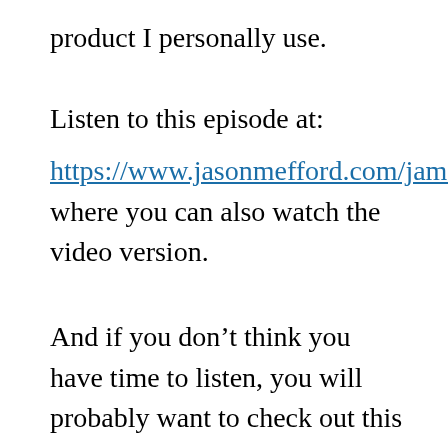product I personally use.
Listen to this episode at:
https://www.jasonmefford.com/jammingwithjason234/ where you can also watch the video version.
And if you don’t think you have time to listen, you will probably want to check out this live video I did this week:
https://youtu.be/D4ojN3cQW00 “You Have a